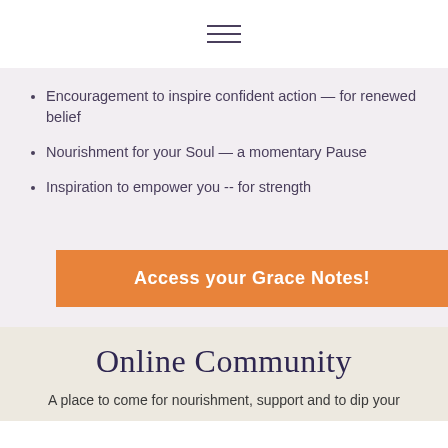[Figure (other): Hamburger menu icon — three horizontal lines centered at top of page]
Encouragement to inspire confident action — for renewed belief
Nourishment for your Soul — a momentary Pause
Inspiration to empower you -- for strength
Access your Grace Notes!
Online Community
A place to come for nourishment, support and to dip your